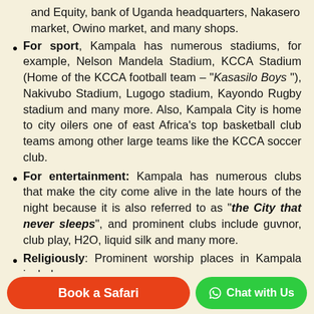and Equity, bank of Uganda headquarters, Nakasero market, Owino market, and many shops.
For sport, Kampala has numerous stadiums, for example, Nelson Mandela Stadium, KCCA Stadium (Home of the KCCA football team – "Kasasilo Boys"), Nakivubo Stadium, Lugogo stadium, Kayondo Rugby stadium and many more. Also, Kampala City is home to city oilers one of east Africa's top basketball club teams among other large teams like the KCCA soccer club.
For entertainment: Kampala has numerous clubs that make the city come alive in the late hours of the night because it is also referred to as "the City that never sleeps", and prominent clubs include guvnor, club play, H2O, liquid silk and many more.
Religiously: Prominent worship places in Kampala include